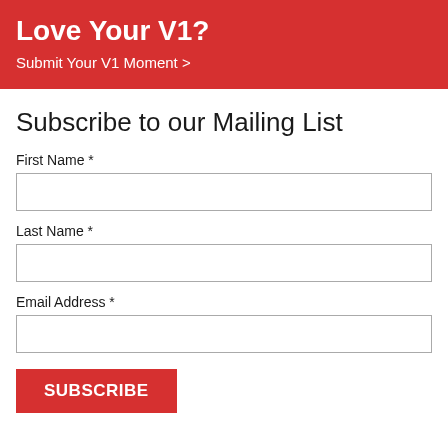Love Your V1?
Submit Your V1 Moment >
Subscribe to our Mailing List
First Name *
Last Name *
Email Address *
SUBSCRIBE